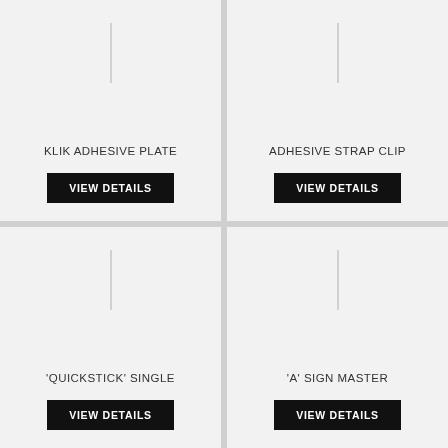[Figure (other): Product card placeholder image line for KLIK ADHESIVE PLATE]
KLIK ADHESIVE PLATE
VIEW DETAILS
[Figure (other): Product card placeholder image line for ADHESIVE STRAP CLIP]
ADHESIVE STRAP CLIP
VIEW DETAILS
[Figure (other): Product card placeholder image line for 'QUICKSTICK' SINGLE]
'QUICKSTICK' SINGLE
VIEW DETAILS
[Figure (other): Product card placeholder image line for 'A' SIGN MASTER]
'A' SIGN MASTER
VIEW DETAILS